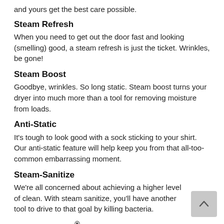and yours get the best care possible.
Steam Refresh
When you need to get out the door fast and looking (smelling) good, a steam refresh is just the ticket. Wrinkles, be gone!
Steam Boost
Goodbye, wrinkles. So long static. Steam boost turns your dryer into much more than a tool for removing moisture from loads.
Anti-Static
It's tough to look good with a sock sticking to your shirt. Our anti-static feature will help keep you from that all-too-common embarrassing moment.
Steam-Sanitize
We're all concerned about achieving a higher level of clean. With steam sanitize, you'll have another tool to drive to that goal by killing bacteria.
ENERGY STAR® Certified